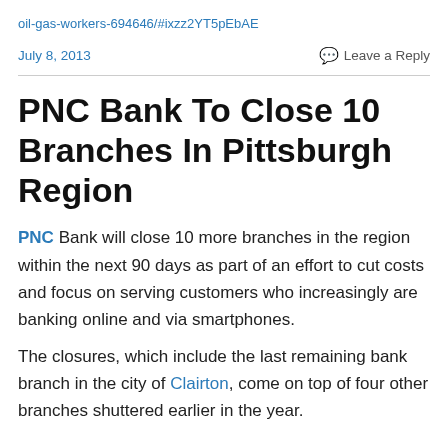oil-gas-workers-694646/#ixzz2YT5pEbAE
July 8, 2013
Leave a Reply
PNC Bank To Close 10 Branches In Pittsburgh Region
PNC Bank will close 10 more branches in the region within the next 90 days as part of an effort to cut costs and focus on serving customers who increasingly are banking online and via smartphones.
The closures, which include the last remaining bank branch in the city of Clairton, come on top of four other branches shuttered earlier in the year.